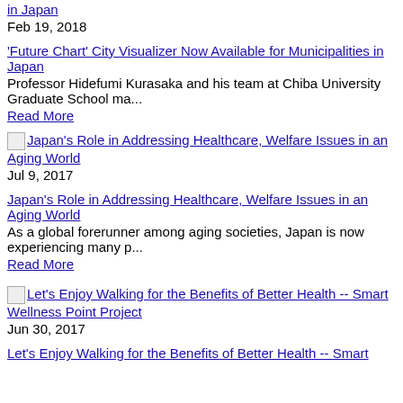in Japan
Feb 19, 2018
'Future Chart' City Visualizer Now Available for Municipalities in Japan
Professor Hidefumi Kurasaka and his team at Chiba University Graduate School ma...
Read More
[Figure (photo): Thumbnail image for Japan's Role in Addressing Healthcare, Welfare Issues in an Aging World]
Jul 9, 2017
Japan's Role in Addressing Healthcare, Welfare Issues in an Aging World
As a global forerunner among aging societies, Japan is now experiencing many p...
Read More
[Figure (photo): Thumbnail image for Let's Enjoy Walking for the Benefits of Better Health -- Smart Wellness Point Project]
Jun 30, 2017
Let's Enjoy Walking for the Benefits of Better Health -- Smart Wellness Point Project